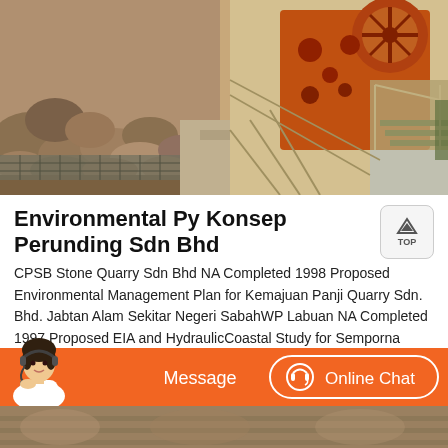[Figure (photo): Industrial quarry stone crusher machinery — large orange mechanical crusher with rocks on left and metal staircases/railings on right, outdoor setting]
Environmental Py Konsep Perunding Sdn Bhd
CPSB Stone Quarry Sdn Bhd NA Completed 1998 Proposed Environmental Management Plan for Kemajuan Panji Quarry Sdn. Bhd. Jabtan Alam Sekitar Negeri SabahWP Labuan NA Completed 1997 Proposed EIA and HydraulicCoastal Study for Semporna Naval Base in Association with Dr Nik amp Associates Ministry of Defence Malaysia NA Completed 1998
[Figure (photo): Customer service chat bar with orange background showing woman with headset on left, Message button in center, and Online Chat button with headset icon on right]